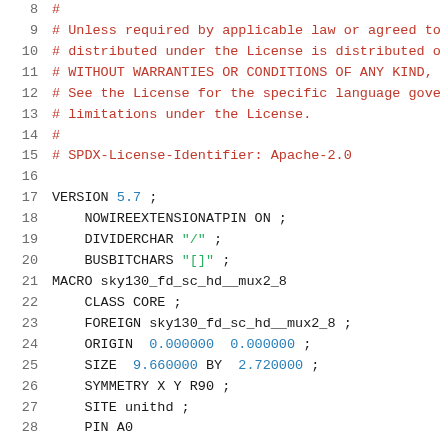Code listing lines 8-28 of a LEF (Library Exchange Format) file for sky130_fd_sc_hd__mux2_8
8  #
9  # Unless required by applicable law or agreed to
10 # distributed under the License is distributed o
11 # WITHOUT WARRANTIES OR CONDITIONS OF ANY KIND,
12 # See the License for the specific language gove
13 # limitations under the License.
14 #
15 # SPDX-License-Identifier: Apache-2.0
16 
17 VERSION 5.7 ;
18     NOWIREEXTENSIONATPIN ON ;
19     DIVIDERCHAR "/" ;
20     BUSBITCHARS "[]" ;
21 MACRO sky130_fd_sc_hd__mux2_8
22     CLASS CORE ;
23     FOREIGN sky130_fd_sc_hd__mux2_8 ;
24     ORIGIN  0.000000  0.000000 ;
25     SIZE  9.660000 BY  2.720000 ;
26     SYMMETRY X Y R90 ;
27     SITE unithd ;
28     PIN A0